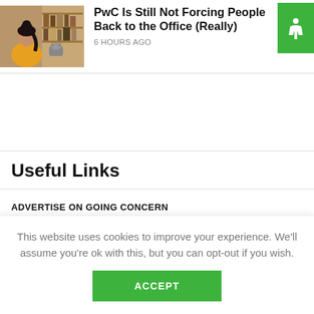[Figure (photo): Photo of a person with dark hair in a bun, wearing a yellow top, sitting at a desk with books/shelves in the background]
PwC Is Still Not Forcing People Back to the Office (Really)
6 HOURS AGO
[Figure (logo): Green square icon with white accessibility/person figure logo]
Useful Links
ADVERTISE ON GOING CONCERN
TERMS OF USE
CONTACT US
This website uses cookies to improve your experience. We'll assume you're ok with this, but you can opt-out if you wish.
ACCEPT